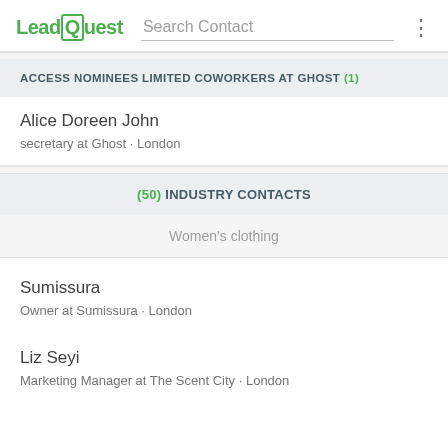LeadQuest | Search Contact
ACCESS NOMINEES LIMITED COWORKERS AT GHOST (1)
Alice Doreen John
secretary at Ghost · London
(50) INDUSTRY CONTACTS
Women's clothing
Sumissura
Owner at Sumissura · London
Liz Seyi
Marketing Manager at The Scent City · London